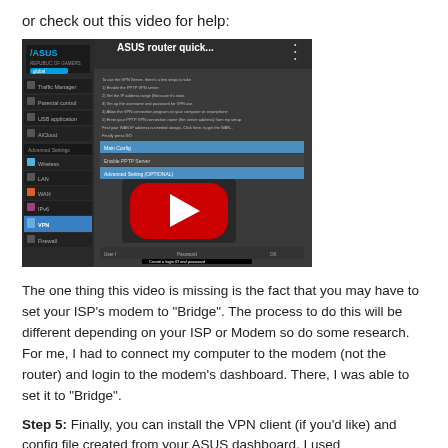or check out this video for help:
[Figure (screenshot): YouTube video thumbnail showing ASUS router quick setup video with title 'ASUS router quick...' and a red play button in the center. The screenshot shows the ASUS router admin interface with 'Create a login ID and password' caption at the bottom.]
The one thing this video is missing is the fact that you may have to set your ISP's modem to "Bridge".  The process to do this will be different depending on your ISP or Modem so do some research.  For me, I had to connect my computer to the modem (not the router) and login to the modem's dashboard.  There, I was able to set it to "Bridge".
Step 5:  Finally, you can install the VPN client (if you'd like) and config file created from your ASUS dashboard.  I used